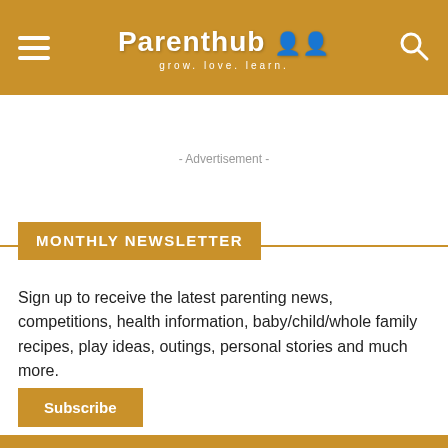Parenthub — grow. love. learn.
- Advertisement -
MONTHLY NEWSLETTER
Sign up to receive the latest parenting news, competitions, health information, baby/child/whole family recipes, play ideas, outings, personal stories and much more.
Subscribe